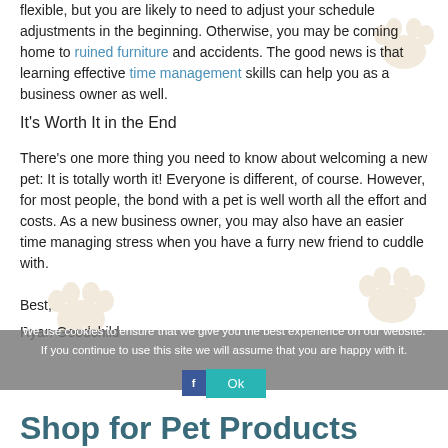flexible, but you are likely to need to adjust your schedule adjustments in the beginning. Otherwise, you may be coming home to ruined furniture and accidents. The good news is that learning effective time management skills can help you as a business owner as well.
It's Worth It in the End
There's one more thing you need to know about welcoming a new pet: It is totally worth it! Everyone is different, of course. However, for most people, the bond with a pet is well worth all the effort and costs. As a new business owner, you may also have an easier time managing stress when you have a furry new friend to cuddle with.
Best,
Ryan Goodchild
We use cookies to ensure that we give you the best experience on our website. If you continue to use this site we will assume that you are happy with it.
Shop for Pet Products